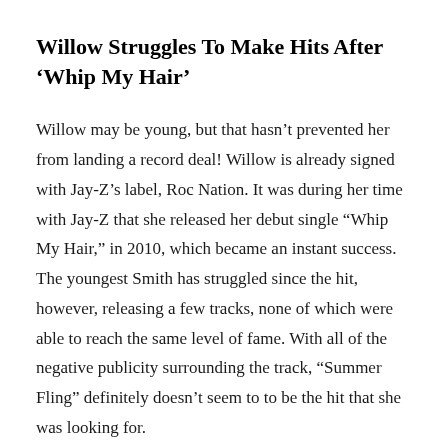Willow Struggles To Make Hits After ‘Whip My Hair’
Willow may be young, but that hasn’t prevented her from landing a record deal! Willow is already signed with Jay-Z’s label, Roc Nation. It was during her time with Jay-Z that she released her debut single “Whip My Hair,” in 2010, which became an instant success. The youngest Smith has struggled since the hit, however, releasing a few tracks, none of which were able to reach the same level of fame. With all of the negative publicity surrounding the track, “Summer Fling” definitely doesn’t seem to to be the hit that she was looking for.